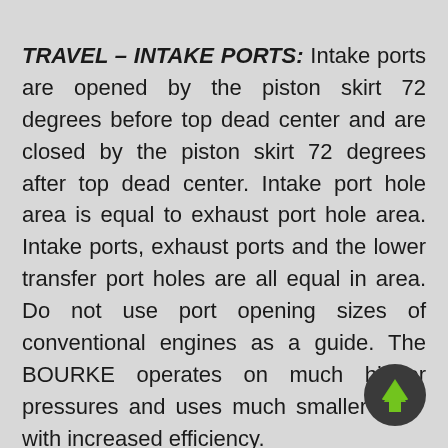TRAVEL – INTAKE PORTS: Intake ports are opened by the piston skirt 72 degrees before top dead center and are closed by the piston skirt 72 degrees after top dead center. Intake port hole area is equal to exhaust port hole area. Intake ports, exhaust ports and the lower transfer port holes are all equal in area. Do not use port opening sizes of conventional engines as a guide. The BOURKE operates on much higher pressures and uses much smaller ports with increased efficiency.
[Figure (other): Navigation button: dark circle with green upward arrow]